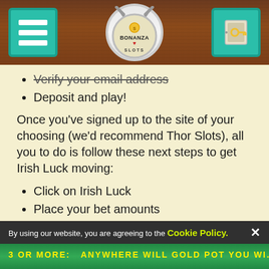[Figure (screenshot): Bonanza Slots website header with menu icon on left, Bonanza Slots logo in center, and key/login icon on right, on a brown wood-grain background]
Verify your email address (strikethrough)
Deposit and play!
Once you've signed up to the site of your choosing (we'd recommend Thor Slots), all you to do is follow these next steps to get Irish Luck moving:
Click on Irish Luck
Place your bet amounts
Hit spin or play, and get ready!
Irish Luck comes with a demo mode for those wondering, giving you a chance to learn a few of the basics before you try playing for real. Be sure to check out the next section to learn about the stats on this one.
By using our website, you are agreeing to the Cookie Policy.
3 or more: ANYWHERE WILL GOLD POT YOU WI...